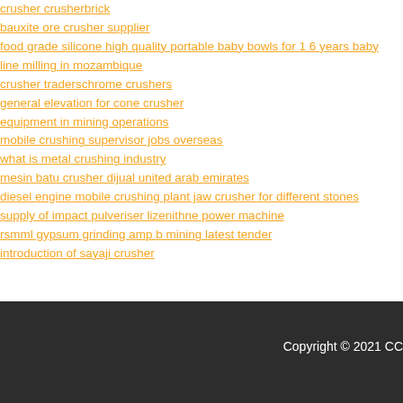crusher crusherbrick
bauxite ore crusher supplier
food grade silicone high quality portable baby bowls for 1 6 years baby
line milling in mozambique
crusher traderschrome crushers
general elevation for cone crusher
equipment in mining operations
mobile crushing supervisor jobs overseas
what is metal crushing industry
mesin batu crusher dijual united arab emirates
diesel engine mobile crushing plant jaw crusher for different stones
supply of impact pulveriser lizenithne power machine
rsmml gypsum grinding amp b mining latest tender
introduction of sayaji crusher
Copyright © 2021 CC